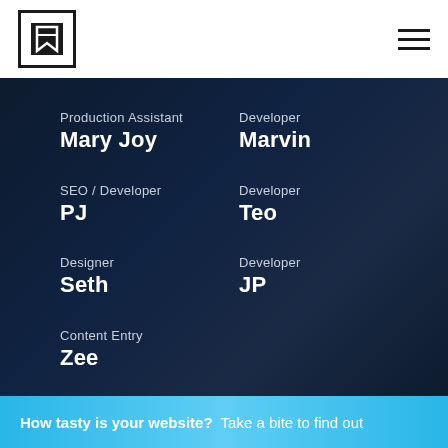[Figure (logo): Square logo with a stylized arrow/bookmark icon in white on dark background, inside a border box]
[Figure (other): Hamburger menu icon — three horizontal lines]
Production Assistant
Mary Joy
Developer
Marvin
SEO / Developer
PJ
Developer
Teo
Designer
Seth
Developer
JP
Content Entry
Zee
How tasty is your website?  Take a bite to find out